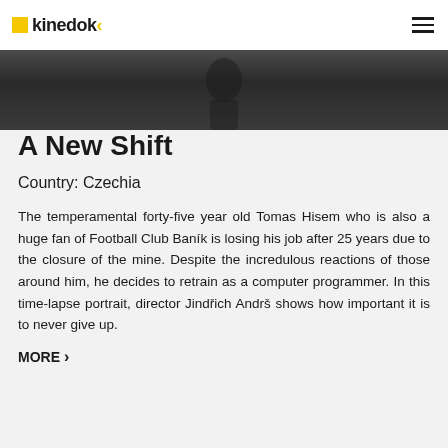Kinedok
[Figure (photo): Dark cinematic screenshot showing a figure in muted tones, used as hero banner image for the documentary film 'A New Shift']
A New Shift
Country: Czechia
The temperamental forty-five year old Tomas Hisem who is also a huge fan of Football Club Baník is losing his job after 25 years due to the closure of the mine. Despite the incredulous reactions of those around him, he decides to retrain as a computer programmer. In this time-lapse portrait, director Jindřich Andrš shows how important it is to never give up.
MORE ›